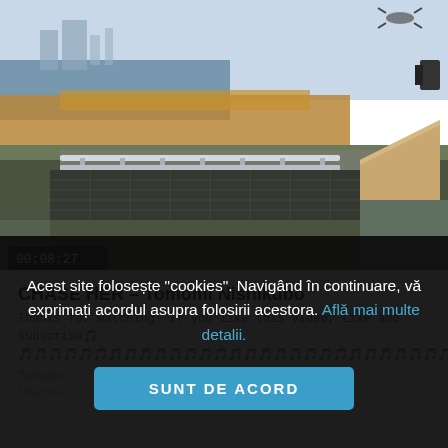[Figure (photo): Outdoor photo of a skatepark rail setup near a waterway with dry reeds and a ramp, taken from aerial/elevated perspective. A timestamp overlay reads 00:08:27.]
CHASE HER – Tomomi Nishikubo
Thanks for watching! If you like this video, Like and subscribe🎵
🎵🎵🎵🎵🎵🎵🎵🎵🎵🎵🎵🎵🎵🎵🎵🎵🎵🎵🎵🎵🎵🎵🎵🎵🎵🎵🎵🎵🎵🎵🎵🎵🎵🎵
Tomomi...
Mai mult
Acest site folosește "cookies". Navigând în continuare, vă exprimați acordul asupra folosirii acestora. Aflați mai multe detalii.
SUNT DE ACORD